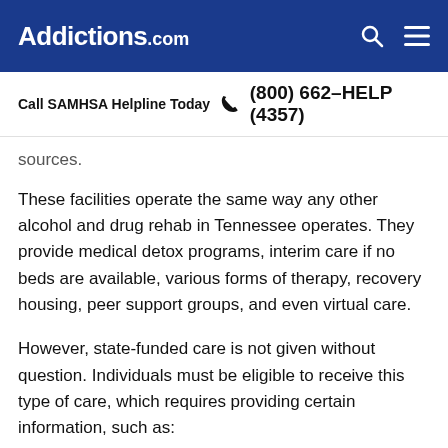Addictions.com
Call SAMHSA Helpline Today  (800) 662-HELP (4357)
sources.
These facilities operate the same way any other alcohol and drug rehab in Tennessee operates. They provide medical detox programs, interim care if no beds are available, various forms of therapy, recovery housing, peer support groups, and even virtual care.
However, state-funded care is not given without question. Individuals must be eligible to receive this type of care, which requires providing certain information, such as: